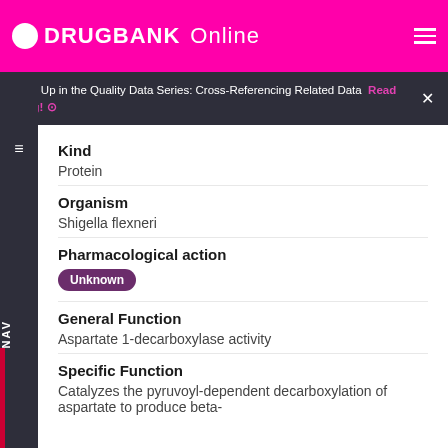DRUGBANK Online
Next Up in the Quality Data Series: Cross-Referencing Related Data  Read Blog!
Kind
Protein
Organism
Shigella flexneri
Pharmacological action
Unknown
General Function
Aspartate 1-decarboxylase activity
Specific Function
Catalyzes the pyruvoyl-dependent decarboxylation of aspartate to produce beta-